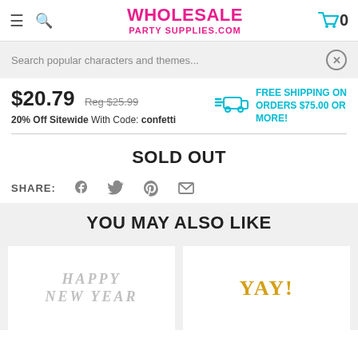WHOLESALE PARTY SUPPLIES.COM
Search popular characters and themes...
$20.79  Reg $25.99
20% Off Sitewide With Code: confetti
FREE SHIPPING ON ORDERS $75.00 OR MORE!
SOLD OUT
SHARE:
YOU MAY ALSO LIKE
[Figure (photo): Silver HAPPY NEW YEAR balloon letters]
[Figure (photo): Gold YAY! balloon letters]